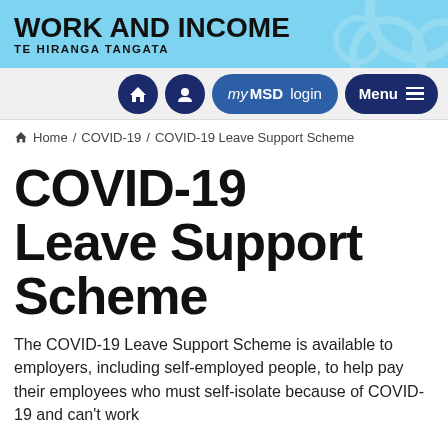WORK AND INCOME
TE HIRANGA TANGATA
[Figure (screenshot): Work and Income website navigation bar with home icon button, second icon button, myMSD login button, and Menu button]
Home / COVID-19 / COVID-19 Leave Support Scheme
COVID-19 Leave Support Scheme
The COVID-19 Leave Support Scheme is available to employers, including self-employed people, to help pay their employees who must self-isolate because of COVID-19 and can't work